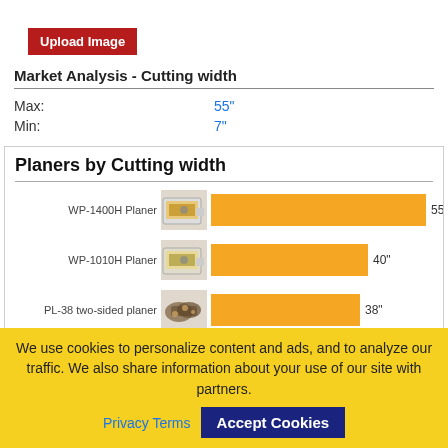[Figure (other): Red button labeled 'Upload Image']
Market Analysis - Cutting width
|  |  |
| --- | --- |
| Max: | 55" |
| Min: | 7" |
[Figure (bar-chart): Planers by Cutting width]
We use cookies to personalize content and ads, and to analyze our traffic. We also share information about your use of our site with partners.
Privacy Terms  Accept Cookies